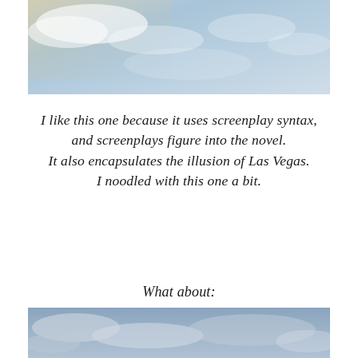[Figure (photo): Photograph of a sky with clouds, blue and white tones, partial view cropped at the top of the page.]
I like this one because it uses screenplay syntax, and screenplays figure into the novel. It also encapsulates the illusion of Las Vegas. I noodled with this one a bit.
What about:
[Figure (photo): Photograph of a cloudy sky, blue-grey tones, partially visible at the bottom of the page.]